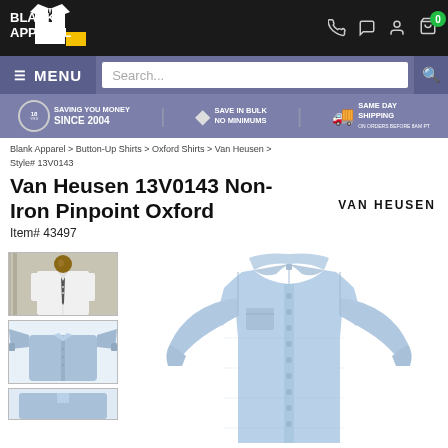BLANK APPAREL
MENU | Search...
SAVING YOU MONEY SINCE 2004 | SAVE IN BULK NO MINIMUMS | SAME DAY SHIPPING
Blank Apparel > Button-Up Shirts > Oxford Shirts > Van Heusen > Style# 13V0143
Van Heusen 13V0143 Non-Iron Pinpoint Oxford
VAN HEUSEN
Item# 43497
[Figure (photo): Thumbnail of man wearing Van Heusen white dress shirt with tie]
[Figure (photo): Thumbnail of Van Heusen blue Oxford shirt laid flat]
[Figure (photo): Main product image of Van Heusen 13V0143 light blue Non-Iron Pinpoint Oxford shirt]